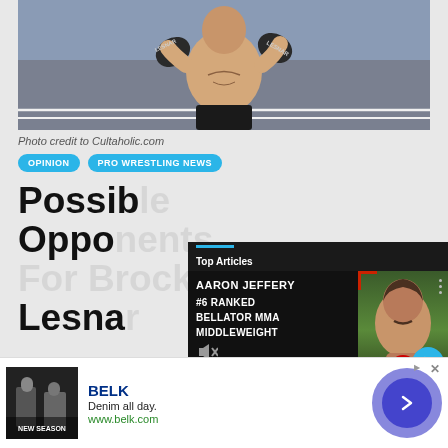[Figure (photo): Shirtless wrestler (Brock Lesnar) in MMA gloves posing in a wrestling ring]
Photo credit to Cultaholic.com
OPINION   PRO WRESTLING NEWS
Possible Opponents For Brock Lesnar
[Figure (screenshot): Video overlay showing Aaron Jeffery #6 Ranked Bellator MMA Middleweight with Top Articles label and arrow navigation button. Caption: Aaron Jeffery discusses win]
[Figure (other): BELK advertisement - Denim all day. www.belk.com with blue arrow button]